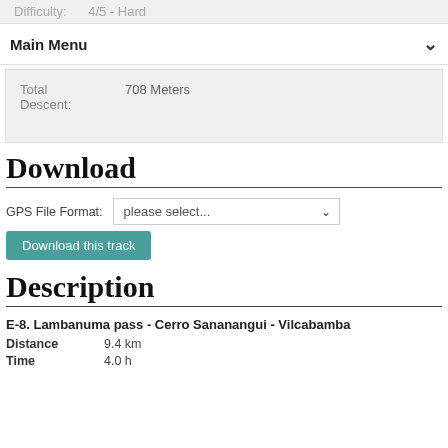Difficulty: 4/5 - Hard
Main Menu
| Field | Value |
| --- | --- |
| Total Descent: | 708 Meters |
Download
GPS File Format: please select...
Download this track
Description
E-8. Lambanuma pass - Cerro Sananangui - Vilcabamba
Distance 9.4 km